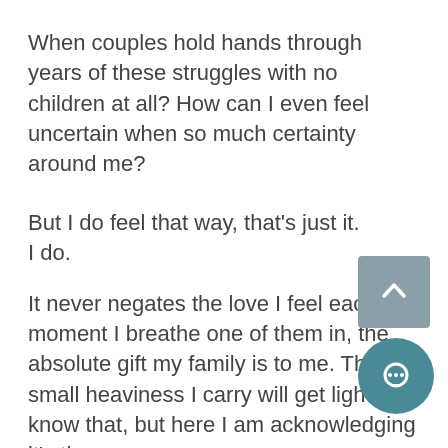When couples hold hands through years of these struggles with no children at all? How can I even feel uncertain when so much certainty around me?
But I do feel that way, that's just it. I do.
It never negates the love I feel each moment I breathe one of them in, the absolute gift my family is to me. The small heaviness I carry will get lighter, I know that, but here I am acknowledging it's there.
I guess I am just waiting for something in my mind to click, for something to make sense, do we make peace with it and leave it? was it just not meant for us, we try again, and possibly keep facing